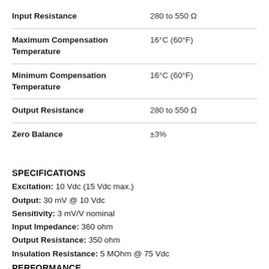| Parameter | Value |
| --- | --- |
| Input Resistance | 280 to 550 Ω |
| Maximum Compensation Temperature | 16°C (60°F) |
| Minimum Compensation Temperature | 16°C (60°F) |
| Output Resistance | 280 to 550 Ω |
| Zero Balance | ±3% |
SPECIFICATIONS
Excitation: 10 Vdc (15 Vdc max.)
Output: 30 mV @ 10 Vdc
Sensitivity: 3 mV/V nominal
Input Impedance: 360 ohm
Output Resistance: 350 ohm
Insulation Resistance: 5 MOhm @ 75 Vdc
PERFORMANCE